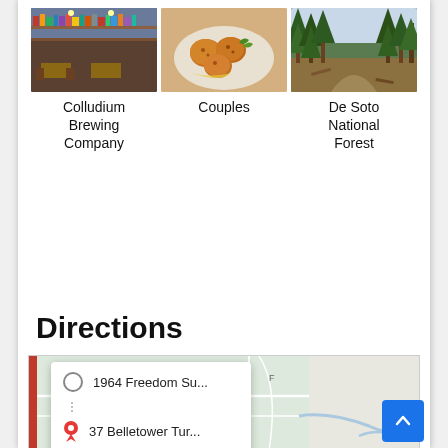[Figure (photo): Photo of Colludium Brewing Company interior with bookshelves and bar]
Colludium Brewing Company
[Figure (photo): Photo of food dish - fried balls on a plate for Couples]
Couples
[Figure (photo): Photo of De Soto National Forest pine trees]
De Soto National Forest
Directions
[Figure (map): Google Maps snippet showing directions from 1964 Freedom Su... to 37 Belletower Tur... with a More options link]